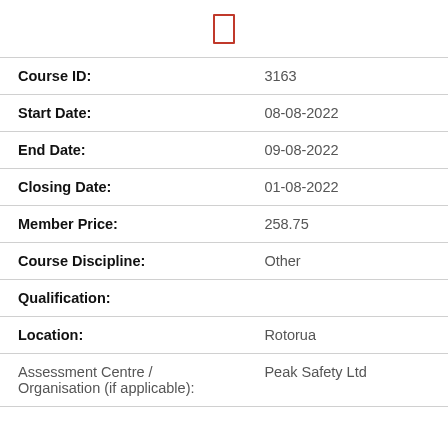[Figure (logo): Red outlined rectangle icon centered at top of page]
| Course ID: | 3163 |
| Start Date: | 08-08-2022 |
| End Date: | 09-08-2022 |
| Closing Date: | 01-08-2022 |
| Member Price: | 258.75 |
| Course Discipline: | Other |
| Qualification: |  |
| Location: | Rotorua |
| Assessment Centre / Organisation (if applicable): | Peak Safety Ltd |